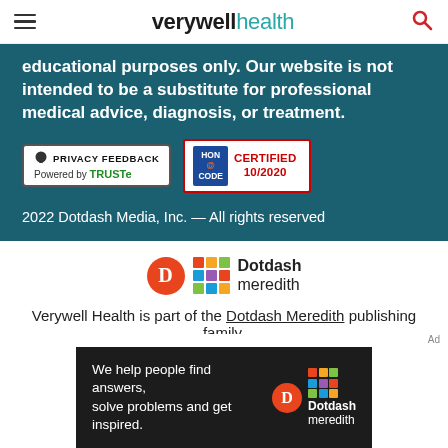verywell health
educational purposes only. Our website is not intended to be a substitute for professional medical advice, diagnosis, or treatment.
[Figure (logo): Privacy Feedback badge powered by TRUSTe]
[Figure (logo): HON CODE Certified 10/2020 badge]
2022 Dotdash Media, Inc. — All rights reserved
[Figure (logo): Dotdash Meredith logo with orange D circle and colorful grid]
Verywell Health is part of the Dotdash Meredith publishing family.
We've updated our Privacy Policy, which will go in to effect on September 1, 2022. Check it out here
[Figure (logo): Dotdash Meredith ad banner: We help people find answers, solve problems and get inspired.]